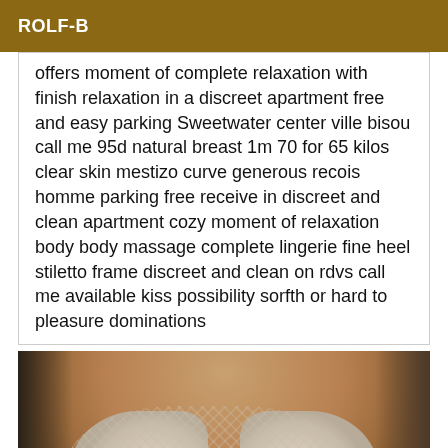ROLF-B
offers moment of complete relaxation with finish relaxation in a discreet apartment free and easy parking Sweetwater center ville bisou call me 95d natural breast 1m 70 for 65 kilos clear skin mestizo curve generous recois homme parking free receive in discreet and clean apartment cozy moment of relaxation body body massage complete lingerie fine heel stiletto frame discreet and clean on rdvs call me available kiss possibility sorfth or hard to pleasure dominations
[Figure (photo): Close-up photo of a woman's chest wearing a white lace bra]